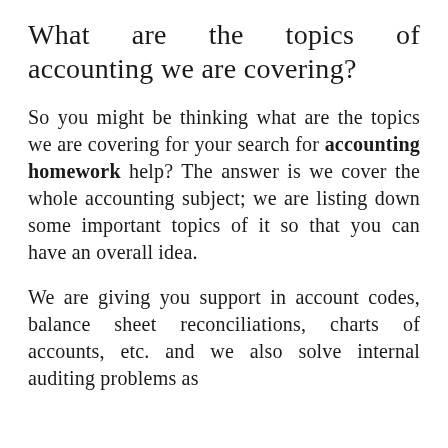What are the topics of accounting we are covering?
So you might be thinking what are the topics we are covering for your search for accounting homework help? The answer is we cover the whole accounting subject; we are listing down some important topics of it so that you can have an overall idea.
We are giving you support in account codes, balance sheet reconciliations, charts of accounts, etc. and we also solve internal auditing problems as well.